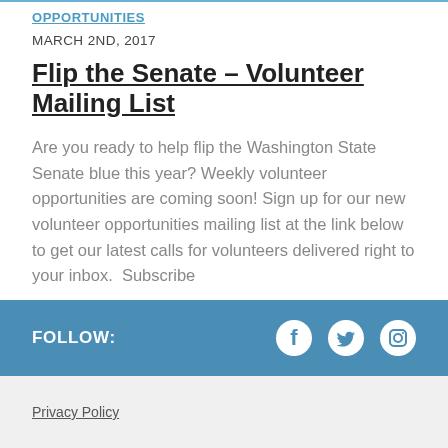OPPORTUNITIES
MARCH 2ND, 2017
Flip the Senate – Volunteer Mailing List
Are you ready to help flip the Washington State Senate blue this year? Weekly volunteer opportunities are coming soon! Sign up for our new volunteer opportunities mailing list at the link below to get our latest calls for volunteers delivered right to your inbox.  Subscribe
FOLLOW: [Facebook] [Twitter] [Instagram]
Privacy Policy